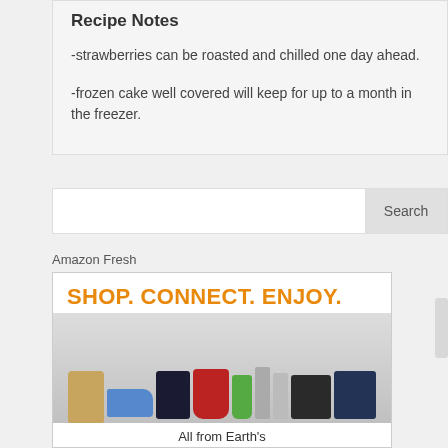Recipe Notes
-strawberries can be roasted and chilled one day ahead.
-frozen cake well covered will keep for up to a month in the freezer.
Search
Amazon Fresh
[Figure (illustration): Amazon Fresh advertisement banner showing 'SHOP. CONNECT. ENJOY.' in orange bold text, with product images including a gaming console, KitchenAid mixer, Kindle tablets, shoes, bag, and a Star Trek DVD. Below the products: 'All from Earth's biggest selection.']